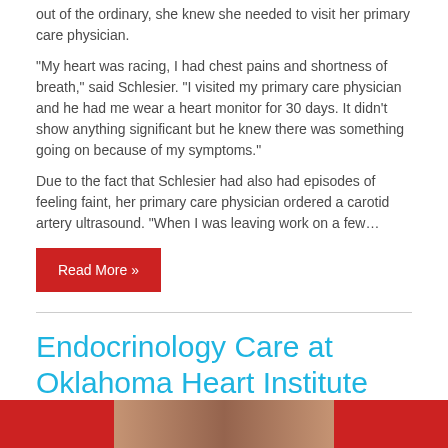out of the ordinary, she knew she needed to visit her primary care physician.
“My heart was racing, I had chest pains and shortness of breath,” said Schlesier. “I visited my primary care physician and he had me wear a heart monitor for 30 days. It didn’t show anything significant but he knew there was something going on because of my symptoms.”
Due to the fact that Schlesier had also had episodes of feeling faint, her primary care physician ordered a carotid artery ultrasound. “When I was leaving work on a few…
Read More »
Endocrinology Care at Oklahoma Heart Institute
[Figure (photo): Red background image bar at the bottom of the page with a partial photo visible]